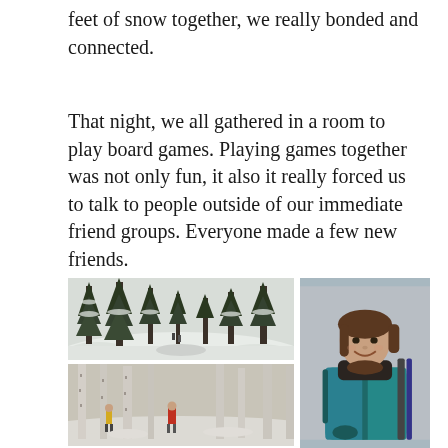feet of snow together, we really bonded and connected.
That night, we all gathered in a room to play board games. Playing games together was not only fun, it also it really forced us to talk to people outside of our immediate friend groups. Everyone made a few new friends.
[Figure (photo): Snowy pine forest path with people in the distance]
[Figure (photo): Snowy birch/aspen forest with people walking among trees, one person in red jacket]
[Figure (photo): Smiling girl in teal/turquoise jacket with backpack and ski equipment in snowy outdoor setting]